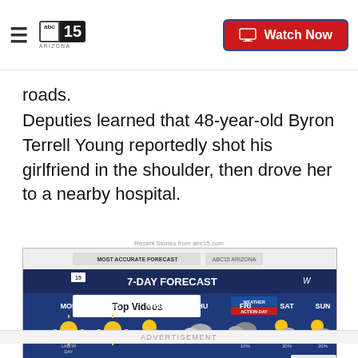abc15 Arizona | Watch Now
roads.
Deputies learned that 48-year-old Byron Terrell Young reportedly shot his girlfriend in the shoulder, then drove her to a nearby hospital.
Recent Stories from abc15.com
[Figure (screenshot): ABC15 Arizona 7-Day Forecast weather video embed showing temperatures for MON 109, TUE 110, WED 108, THU 106, FRI 100 (10%), SAT 98 (30%), SUN 100 (20%). Top Videos overlay shown. CLOSE button visible.]
ADVERTISEMENT